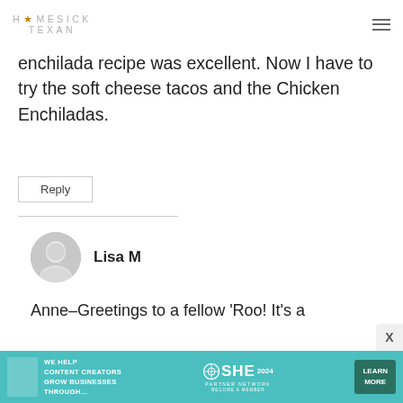HOMESICK TEXAN
enchilada recipe was excellent. Now I have to try the soft cheese tacos and the Chicken Enchiladas.
Reply
Lisa M
Anne–Greetings to a fellow 'Roo! It's a
[Figure (other): SHE Media advertisement banner: WE HELP CONTENT CREATORS GROW BUSINESSES THROUGH... SHE PARTNER NETWORK BECOME A MEMBER LEARN MORE]